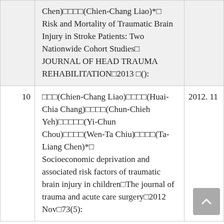| # | Reference | Year |
| --- | --- | --- |
|  | Chen)□□□□(Chien-Chang Liao)*□ Risk and Mortality of Traumatic Brain Injury in Stroke Patients: Two Nationwide Cohort Studies□ JOURNAL OF HEAD TRAUMA REHABILITATION□2013 □(): |  |
| 10 | □□□(Chien-Chang Liao)□□□□(Huai-Chia Chang)□□□□(Chun-Chieh Yeh)□□□□□(Yi-Chun Chou)□□□□(Wen-Ta Chiu)□□□□(Ta-Liang Chen)*□ Socioeconomic deprivation and associated risk factors of traumatic brain injury in children□The journal of trauma and acute care surgery□2012 Nov□73(5): | 2012. 11 |